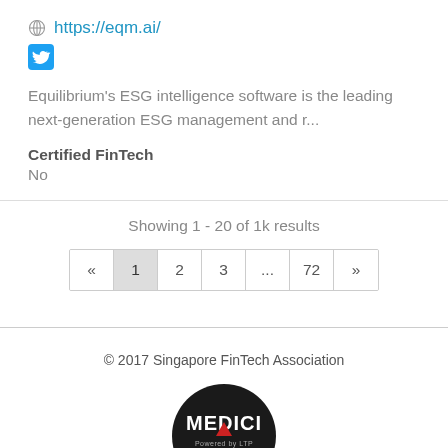https://eqm.ai/
[Figure (logo): Twitter bird icon (blue square with white bird)]
Equilibrium's ESG intelligence software is the leading next-generation ESG management and r...
Certified FinTech
No
Showing 1 - 20 of 1k results
« 1 2 3 ... 72 »
© 2017 Singapore FinTech Association
[Figure (logo): MEDICI Powered by LTP logo — black circle with white MEDICI text and red triangle accent]